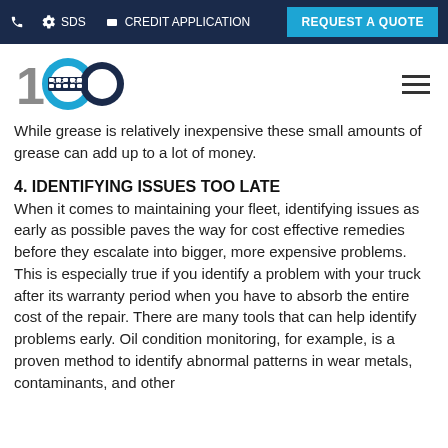📞  ⚙ SDS  🗂 CREDIT APPLICATION  REQUEST A QUOTE
[Figure (logo): 100-year anniversary logo with blue circular design and company branding]
While grease is relatively inexpensive these small amounts of grease can add up to a lot of money.
4. IDENTIFYING ISSUES TOO LATE
When it comes to maintaining your fleet, identifying issues as early as possible paves the way for cost effective remedies before they escalate into bigger, more expensive problems. This is especially true if you identify a problem with your truck after its warranty period when you have to absorb the entire cost of the repair. There are many tools that can help identify problems early. Oil condition monitoring, for example, is a proven method to identify abnormal patterns in wear metals, contaminants, and other